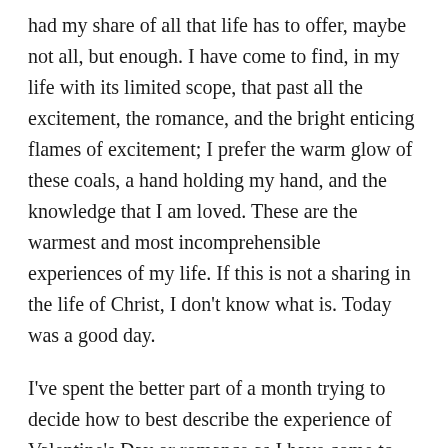had my share of all that life has to offer, maybe not all, but enough. I have come to find, in my life with its limited scope, that past all the excitement, the romance, and the bright enticing flames of excitement; I prefer the warm glow of these coals, a hand holding my hand, and the knowledge that I am loved. These are the warmest and most incomprehensible experiences of my life. If this is not a sharing in the life of Christ, I don't know what is. Today was a good day.
I've spent the better part of a month trying to decide how to best describe the experience of Valentine's Day or romance as I have come to see it for myself, as a member of the LGBTQ2S+ community. I need to share how my freedoms to love are built on the lives of